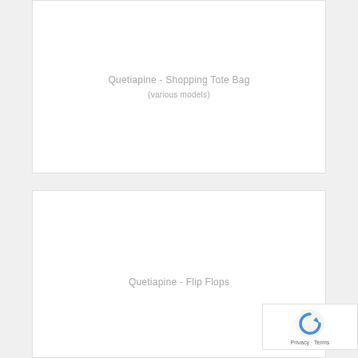[Figure (other): Product card placeholder for shopping tote bag]
Quetiapine - Shopping Tote Bag
(various models)
[Figure (other): Product card placeholder for flip flops]
Quetiapine - Flip Flops